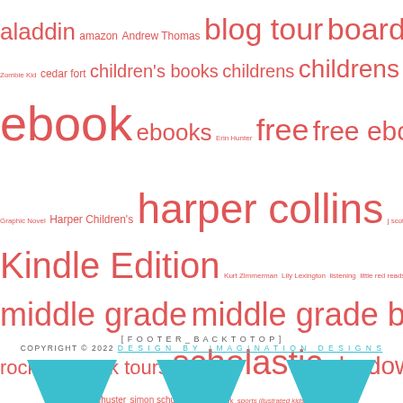[Figure (infographic): Tag cloud / word cloud of children's book-related terms in varying red font sizes: aladdin, amazon, Andrew Thomas, blog tour, board books, brandon mull, Case File 13: Zombie Kid, cedar fort, children's books, childrens, childrens e book, disney hyperion, ebook, ebooks, Erin Hunter, free, free ebook, free reader friday, giveaway, Graphic Novel, Harper Children's, harper collins, j scott savage, kindle, Kindle Edition, Kurt Zimmerman, Lily Lexington, listening, little red reads, MG, middle grade, middle grade books, random house, Review, rockstar, rockstar book tours, scholastic, shadow mountain, Sharlene Alexander, simon and schuster, simon schuster, Sneak Peek, sports illustrated kids, survivors, time]
[FOOTER_BACKTOTOP]
COPYRIGHT © 2022 DESIGN BY IMAGINATION DESIGNS